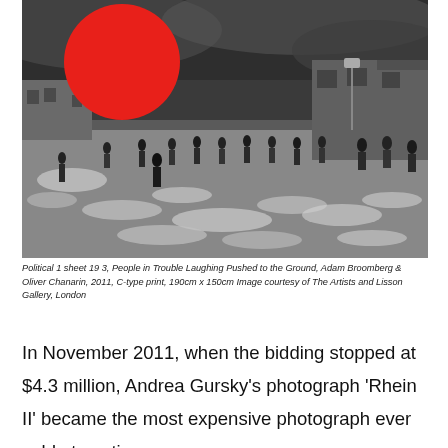[Figure (photo): Black and white photograph of a street scene with people scattered across a chaotic urban environment, debris or foam on the ground, residential buildings in background, dark cloudy sky. A large red circle (disc) is overlaid in the upper left of the image.]
Political 1 sheet 19 3, People in Trouble Laughing Pushed to the Ground, Adam Broomberg & Oliver Chanarin, 2011, C-type print, 190cm x 150cm Image courtesy of The Artists and Lisson Gallery, London
In November 2011, when the bidding stopped at $4.3 million, Andrea Gursky's photograph 'Rhein II' became the most expensive photograph ever sold at auction.